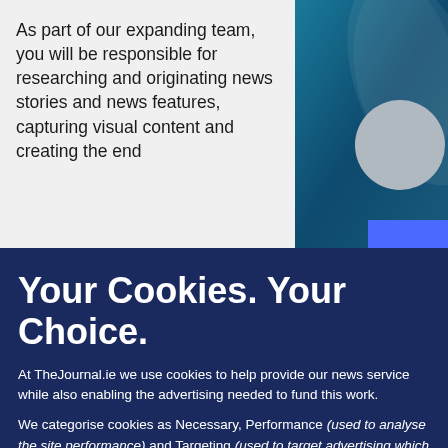As part of our expanding team, you will be responsible for researching and originating news stories and news features, capturing visual content and creating the end
[Figure (illustration): Decorative banner with teal/dark blue gradient waves and a grey circular avatar shape, with a blue rectangle at bottom right]
Your Cookies. Your Choice.
At TheJournal.ie we use cookies to help provide our news service while also enabling the advertising needed to fund this work.
We categorise cookies as Necessary, Performance (used to analyse the site performance) and Targeting (used to target advertising which helps us keep this service free).
You can choose to 'accept all' cookies below or to only opt in to what you are happy to accept using 'manage cookies'. You can also change your cookie settings at any time and learn more about how we use cookies in